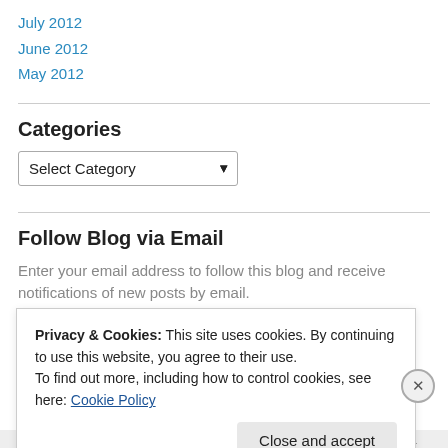July 2012
June 2012
May 2012
Categories
Select Category
Follow Blog via Email
Enter your email address to follow this blog and receive notifications of new posts by email.
Privacy & Cookies: This site uses cookies. By continuing to use this website, you agree to their use.
To find out more, including how to control cookies, see here: Cookie Policy
Close and accept